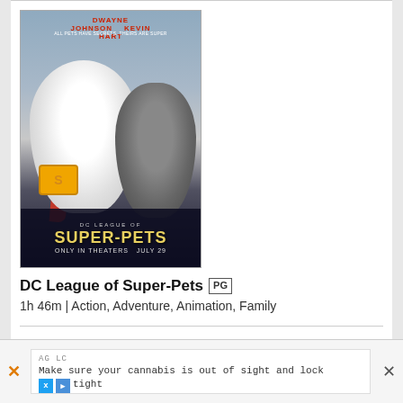[Figure (photo): Movie poster for DC League of Super-Pets featuring animated dog with Superman emblem and cape alongside a bulldog, with the text DWAYNE JOHNSON, KEVIN HART, ALL PETS HAVE SECRETS. THEIRS ARE SUPER, DC LEAGUE OF SUPER-PETS, ONLY IN THEATERS JULY 29]
DC League of Super-Pets PG
1h 46m | Action, Adventure, Animation, Family
(Reserved Seating / Closed Captions / Recliner Seats) Showtimes
AG LC Make sure your cannabis is out of sight and locked tight